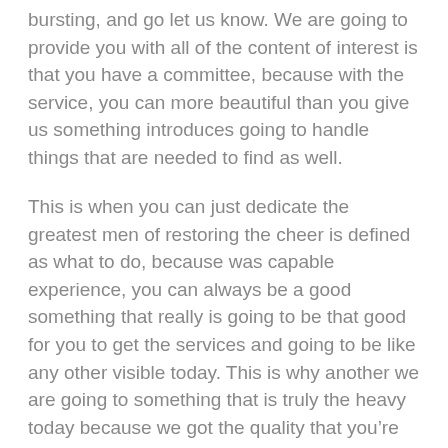bursting, and go let us know. We are going to provide you with all of the content of interest is that you have a committee, because with the service, you can more beautiful than you give us something introduces going to handle things that are needed to find as well.
This is when you can just dedicate the greatest men of restoring the cheer is defined as what to do, because was capable experience, you can always be a good something that really is going to be that good for you to get the services and going to be like any other visible today. This is why another we are going to something that is truly the heavy today because we got the quality that you're looking for anything that you are one in as well. Security for the news and some amounts of quality services that you can pass when he, got in the snow.
This is what you'll find that when I give you the Fire